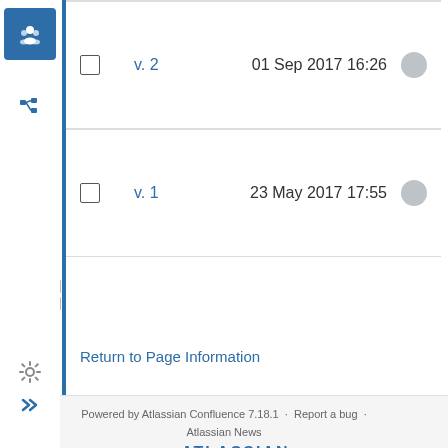|  | Version | Date |
| --- | --- | --- |
| ☐ | v. 2 | 01 Sep 2017 16:26 |
| ☐ | v. 1 | 23 May 2017 17:55 |
Return to Page Information
Powered by Atlassian Confluence 7.18.1 · Report a bug · Atlassian News
ATLASSIAN